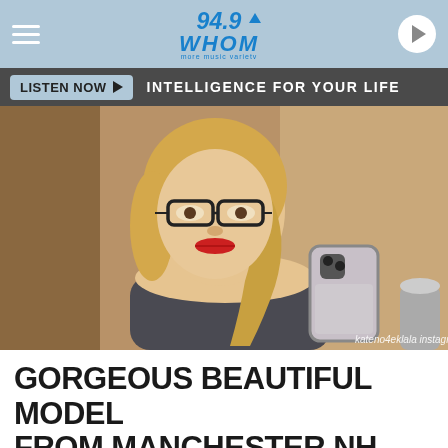94.9 WHOM — LISTEN NOW | INTELLIGENCE FOR YOUR LIFE
[Figure (photo): A young blonde woman wearing glasses and red lipstick taking a mirror selfie with a smartphone. She has her hair in a braid over one shoulder. Photo credit: kateno4eklala instagram]
kateno4eklala instagram
GORGEOUS BEAUTIFUL MODEL FROM MANCHESTER NH HAS